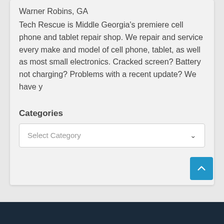Warner Robins, GA
Tech Rescue is Middle Georgia's premiere cell phone and tablet repair shop. We repair and service every make and model of cell phone, tablet, as well as most small electronics. Cracked screen? Battery not charging? Problems with a recent update? We have y
Categories
[Figure (screenshot): A dropdown select box with placeholder text 'Select Category' and a chevron arrow on the right]
[Figure (other): A blue back-to-top button with an upward chevron arrow]